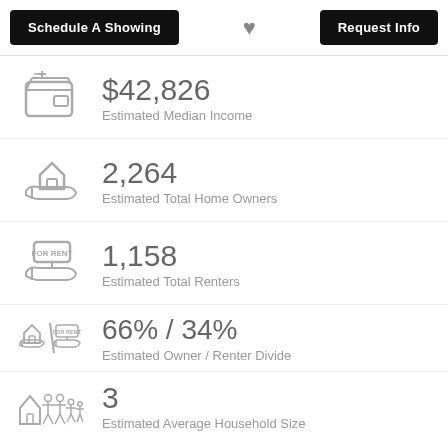Schedule A Showing | ♥ | Request Info
$42,826
Estimated Median Income
2,264
Estimated Total Home Owners
1,158
Estimated Total Renters
66% / 34%
Estimated Owner / Renter Divide
3
Estimated Average Household Size